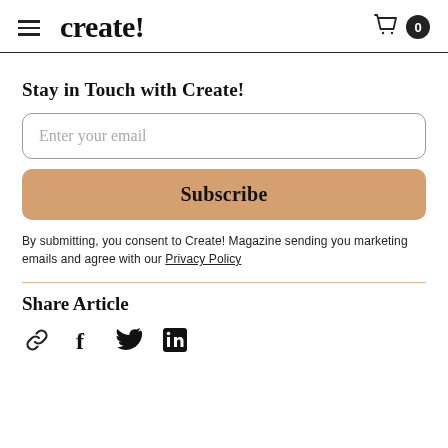create!
Stay in Touch with Create!
Enter your email
Subscribe
By submitting, you consent to Create! Magazine sending you marketing emails and agree with our Privacy Policy
Share Article